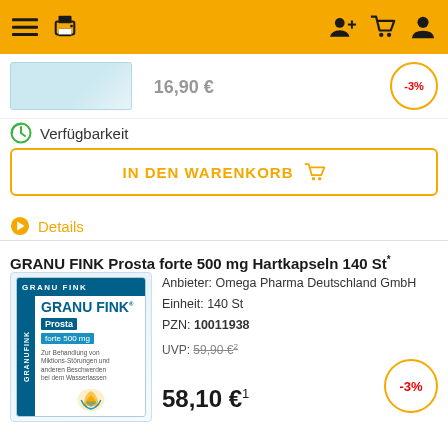Navigation bar with menu, print, user-add, cart, user icons
[Figure (photo): Partial product image with price partially visible and -3% discount badge]
Verfügbarkeit
IN DEN WARENKORB
Details
GRANU FINK Prosta forte 500 mg Hartkapseln 140 St*
Anbieter: Omega Pharma Deutschland GmbH
Einheit: 140 St
PZN: 10011938

UVP: 59,90 €²
58,10 €¹
-3%